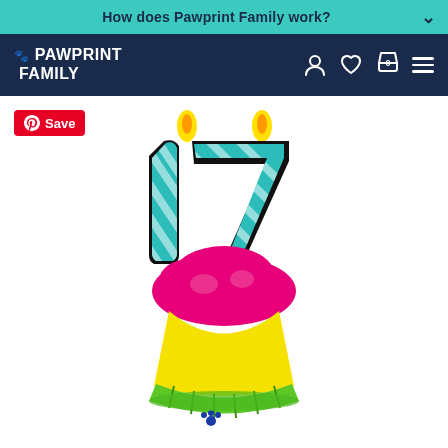How does Pawprint Family work?
[Figure (logo): Pawprint Family logo with paw icon, white text on dark navy background]
[Figure (illustration): Embroidered patch of a cupcake with the number 17 candles on top. The cupcake has a green wrapper, pink frosting, and teal/white striped number candles with yellow flames. A blue paw print is on the cupcake wrapper.]
Save